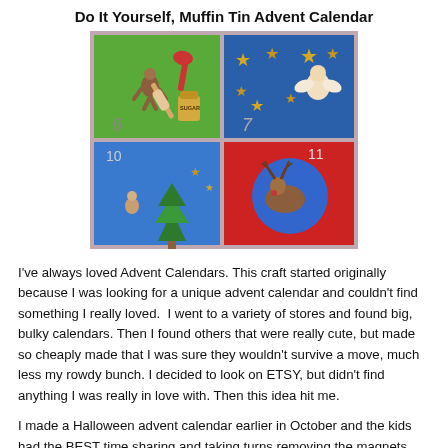Do It Yourself, Muffin Tin Advent Calendar
[Figure (photo): Close-up photograph of a colorful felt advent calendar showing sections numbered 6, 7, 10, and 11. Each section has small Christmas-themed magnets or decorations including a gingerbread man, rolling pin, sugar jar, stars, an angel, a Christmas tree, a reindeer, and other holiday figures on green, blue, and red felt squares.]
I've always loved Advent Calendars. This craft started originally because I was looking for a unique advent calendar and couldn't find something I really loved.  I went to a variety of stores and found big, bulky calendars. Then I found others that were really cute, but made so cheaply made that I was sure they wouldn't survive a move, much less my rowdy bunch. I decided to look on ETSY, but didn't find anything I was really in love with. Then this idea hit me.
I made a Halloween advent calendar earlier in October and the kids had the BEST time sharing and taking turns removing the magnets